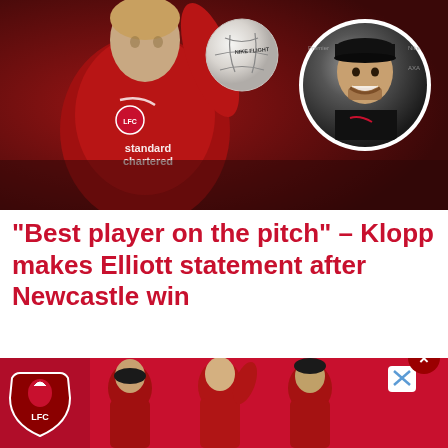[Figure (photo): Liverpool player in red Standard Chartered kit controlling a football, with inset circular photo of Jürgen Klopp smiling during post-match interview.]
“Best player on the pitch” – Klopp makes Elliott statement after Newcastle win
[Figure (photo): Liverpool FC advertisement banner showing LFC crest and players in red kits.]